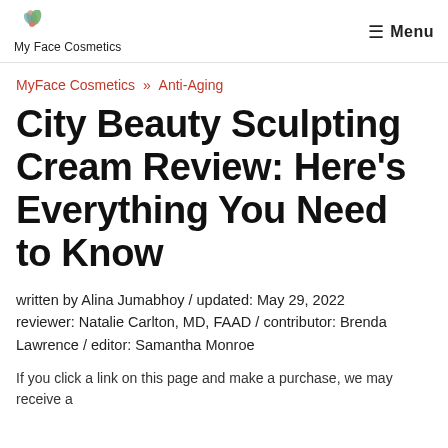My Face Cosmetics  Menu
MyFace Cosmetics » Anti-Aging
City Beauty Sculpting Cream Review: Here's Everything You Need to Know
written by Alina Jumabhoy / updated: May 29, 2022
reviewer: Natalie Carlton, MD, FAAD / contributor: Brenda Lawrence / editor: Samantha Monroe
If you click a link on this page and make a purchase, we may receive a